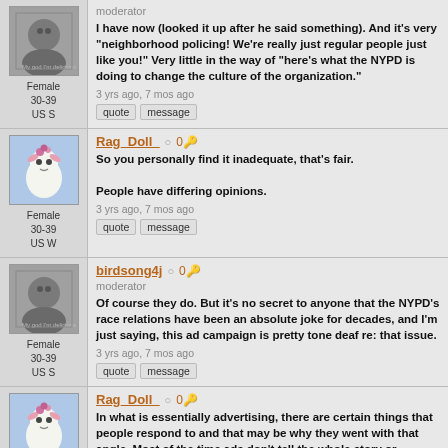moderator
I have now (looked it up after he said something). And it's very "neighborhood policing! We're really just regular people just like you!" Very little in the way of "here's what the NYPD is doing to change the culture of the organization."
3 yrs ago, 7 mos ago
Female 30-39 US S
Rag_Doll ○ 0🔑
So you personally find it inadequate, that's fair.

People have differing opinions.
3 yrs ago, 7 mos ago
Female 30-39 US W
birdsong4j ○ 0🔑
moderator
Of course they do. But it's no secret to anyone that the NYPD's race relations have been an absolute joke for decades, and I'm just saying, this ad campaign is pretty tone deaf re: that issue.
3 yrs ago, 7 mos ago
Female 30-39 US S
Rag_Doll ○ 0🔑
In what is essentially advertising, there are certain things that people respond to and that may be why they went with that angle. Most of the time ads don't tell the whole story or
Female 30-39 US W